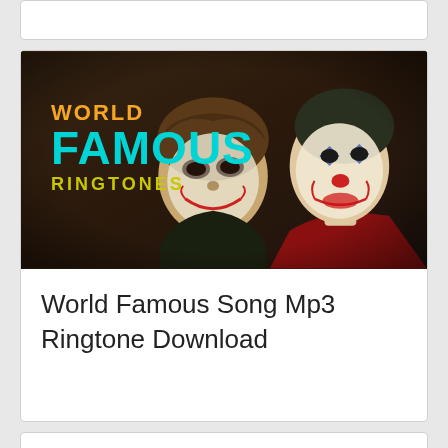[Figure (illustration): Promotional image for World Famous Ringtones featuring two Joker characters from Batman. Text overlay reads WORLD FAMOUS RINGTONES in orange, cyan, and yellow fonts on a dark background.]
World Famous Song Mp3 Ringtone Download